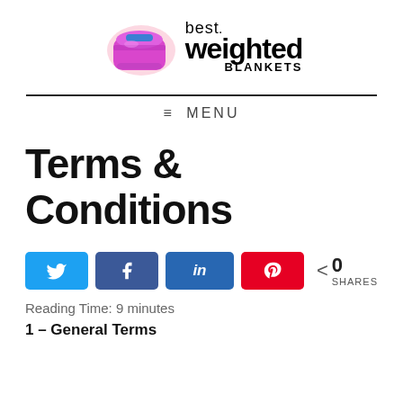[Figure (logo): Best Weighted Blankets logo with illustrated purple/pink blanket and bold text]
MENU
Terms & Conditions
[Figure (infographic): Social share buttons: Twitter, Facebook, LinkedIn, Pinterest, and share count showing 0 SHARES]
Reading Time: 9 minutes
1 – General Terms